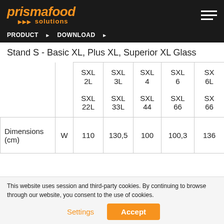prismafood solutions
PRODUCT ► DOWNLOAD ►
Stand S - Basic XL, Plus XL, Superior XL Glass
|  |  | SXL 2L / SXL 22L | SXL 3L / SXL 33L | SXL 4 / SXL 44 | SXL 6 / SXL 66 | SX 6L / SX 66 |
| --- | --- | --- | --- | --- | --- | --- |
| Dimensions (cm) | W | 110 | 130,5 | 100 | 100,3 | 136 |
This website uses session and third-party cookies. By continuing to browse through our website, you consent to the use of cookies.